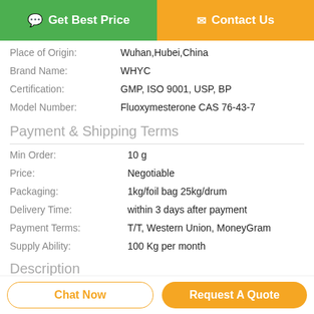[Figure (screenshot): Two buttons: 'Get Best Price' (green) and 'Contact Us' (orange)]
| Place of Origin: | Wuhan,Hubei,China |
| Brand Name: | WHYC |
| Certification: | GMP, ISO 9001, USP, BP |
| Model Number: | Fluoxymesterone CAS 76-43-7 |
Payment & Shipping Terms
| Min Order: | 10 g |
| Price: | Negotiable |
| Packaging: | 1kg/foil bag 25kg/drum |
| Delivery Time: | within 3 days after payment |
| Payment Terms: | T/T, Western Union, MoneyGram |
| Supply Ability: | 100 Kg per month |
Description
[Figure (screenshot): Two buttons at bottom: 'Chat Now' (outline orange) and 'Request A Quote' (orange filled)]